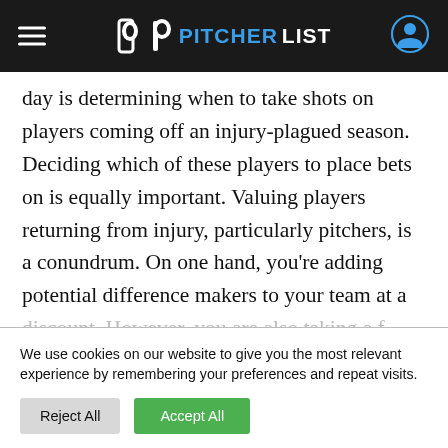PITCHERLIST
day is determining when to take shots on players coming off an injury-plagued season. Deciding which of these players to place bets on is equally important. Valuing players returning from injury, particularly pitchers, is a conundrum. On one hand, you're adding potential difference makers to your team at a
We use cookies on our website to give you the most relevant experience by remembering your preferences and repeat visits.